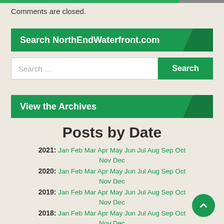Comments are closed.
Search NorthEndWaterfront.com
Search ...
View the Archives
Posts by Date
2021: Jan Feb Mar Apr May Jun Jul Aug Sep Oct Nov Dec
2020: Jan Feb Mar Apr May Jun Jul Aug Sep Oct Nov Dec
2019: Jan Feb Mar Apr May Jun Jul Aug Sep Oct Nov Dec
2018: Jan Feb Mar Apr May Jun Jul Aug Sep Oct Nov Dec